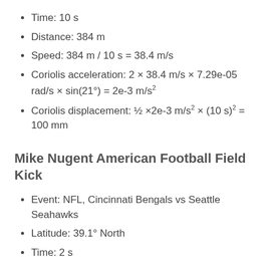Time: 10 s
Distance: 384 m
Speed: 384 m / 10 s = 38.4 m/s
Coriolis acceleration: 2 × 38.4 m/s × 7.29e-05 rad/s × sin(21°) = 2e-3 m/s²
Coriolis displacement: ½ ×2e-3 m/s² × (10 s)² = 100 mm
Mike Nugent American Football Field Kick
Event: NFL, Cincinnati Bengals vs Seattle Seahawks
Latitude: 39.1° North
Time: 2 s